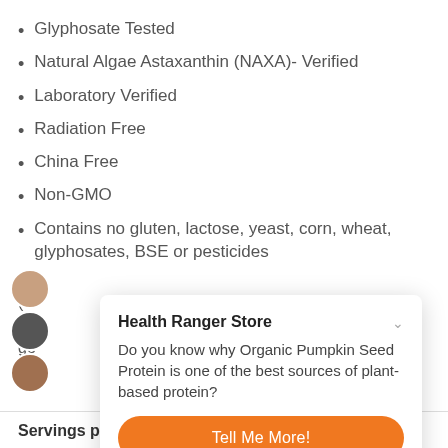Glyphosate Tested
Natural Algae Astaxanthin (NAXA)- Verified
Laboratory Verified
Radiation Free
China Free
Non-GMO
Contains no gluten, lactose, yeast, corn, wheat, glyphosates, BSE or pesticides
In
(fr
Or
ge
To
Su
Servings per container: 30
[Figure (screenshot): Popup dialog from Health Ranger Store with title 'Health Ranger Store', body text 'Do you know why Organic Pumpkin Seed Protein is one of the best sources of plant-based protein?', and two orange rounded buttons: 'Tell Me More!' and 'Maybe later.']